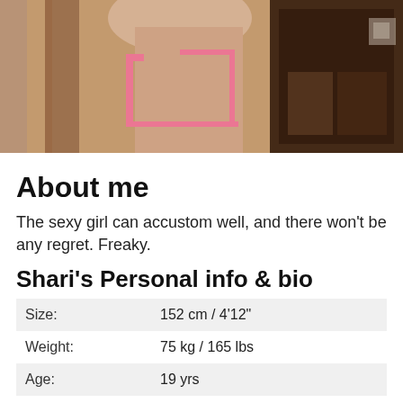[Figure (photo): Partial photo of a person in a pink bikini standing near wooden furniture]
About me
The sexy girl can accustom well, and there won't be any regret. Freaky.
Shari's Personal info & bio
| Size: | 152 cm / 4'12" |
| Weight: | 75 kg / 165 lbs |
| Age: | 19 yrs |
| Hobby: | collecting rare old coins and bottle tops! enjoy computers! watching a good film! snooker pool! eating out!Walking, swimming, gym, video |